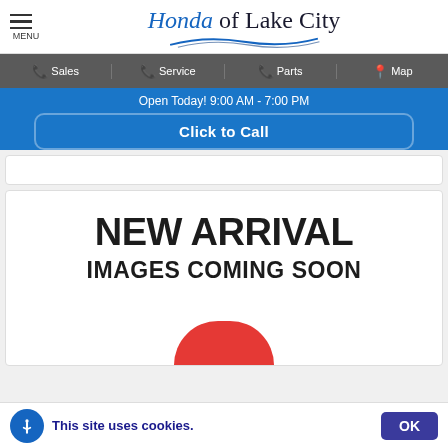Honda of Lake City
Sales | Service | Parts | Map
Open Today! 9:00 AM - 7:00 PM
Click to Call
[Figure (illustration): NEW ARRIVAL IMAGES COMING SOON placeholder with red circle graphic at bottom]
This site uses cookies. OK